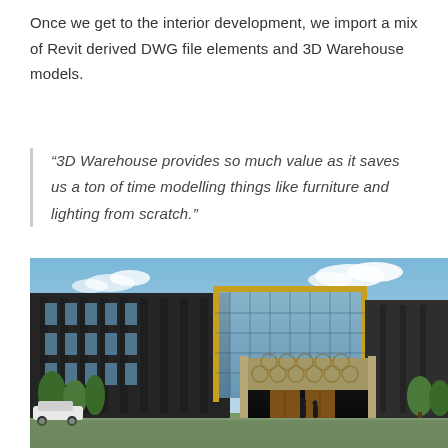Once we get to the interior development, we import a mix of Revit derived DWG file elements and 3D Warehouse models.
“3D Warehouse provides so much value as it saves us a ton of time modelling things like furniture and lighting from scratch.”
[Figure (photo): 3D architectural rendering of a modern multi-storey commercial building exterior with dark cladding, yellow accent framing around the upper glazed facade, a decorative patterned panel above the entrance, glass curtain wall sections, landscaping with trees, and a white car parked in the foreground.]